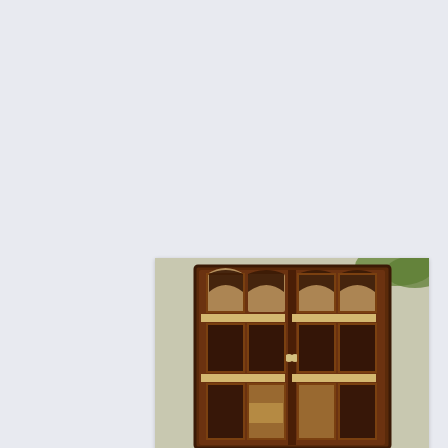[Figure (photo): Photograph of an antique 1920s china/linen/wine cabinet with two glass-paneled doors featuring arched geometric mullion patterns, dark wood frame, and visible interior shelves.]
Cabient-China, Linen, and Wine-Like New
1920's Antique Cabient Offers for $[removed phone].5 width inner cabient 29.5 height inner